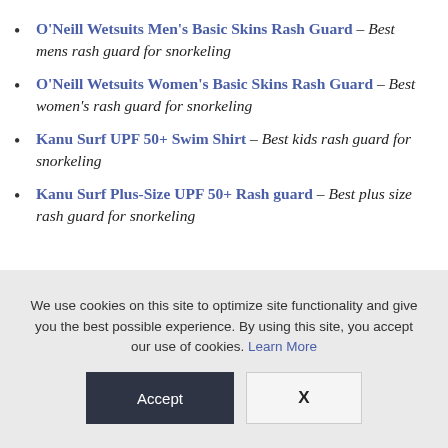O'Neill Wetsuits Men's Basic Skins Rash Guard – Best mens rash guard for snorkeling
O'Neill Wetsuits Women's Basic Skins Rash Guard – Best women's rash guard for snorkeling
Kanu Surf UPF 50+ Swim Shirt – Best kids rash guard for snorkeling
Kanu Surf Plus-Size UPF 50+ Rash guard – Best plus size rash guard for snorkeling
We use cookies on this site to optimize site functionality and give you the best possible experience. By using this site, you accept our use of cookies. Learn More